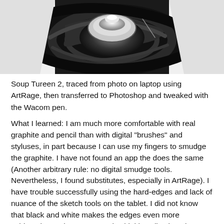[Figure (illustration): Black and white digital drawing of a soup tureen, photographed or rendered from above/side angle showing swirling dark tones and a white lid handle.]
Soup Tureen 2, traced from photo on laptop using ArtRage, then transferred to Photoshop and tweaked with the Wacom pen.
What I learned: I am much more comfortable with real graphite and pencil than with digital "brushes" and styluses, in part because I can use my fingers to smudge the graphite. I have not found an app the does the same (Another arbitrary rule: no digital smudge tools. Nevertheless, I found substitutes, especially in ArtRage). I have trouble successfully using the hard-edges and lack of nuance of the sketch tools on the tablet. I did not know that black and white makes the edges even more
evident than color. I came to the (duh) realization about contour lines -- that their only purpose is to establish spaces and in my mental visions, they don't really exist. I really like the tablet app setting
that smooths the lines (such as exists, I believe, in Adobe